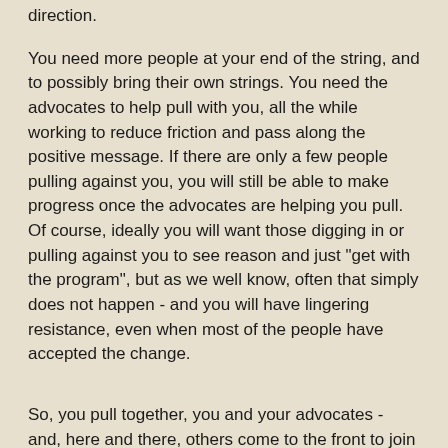direction.
You need more people at your end of the string, and to possibly bring their own strings. You need the advocates to help pull with you, all the while working to reduce friction and pass along the positive message. If there are only a few people pulling against you, you will still be able to make progress once the advocates are helping you pull. Of course, ideally you will want those digging in or pulling against you to see reason and just "get with the program", but as we well know, often that simply does not happen - and you will have lingering resistance, even when most of the people have accepted the change.
So, you pull together, you and your advocates - and, here and there, others come to the front to join you. And the great thing about that is if they are pulling with you, they are not being dragged, so it is suddenly just that bit easier to pull because you gained a puller, but you also removed a resistor (source of friction), so it is a 2-for-1 bonus.